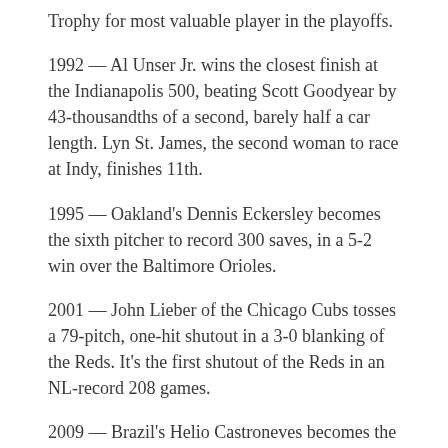Trophy for most valuable player in the playoffs.
1992 — Al Unser Jr. wins the closest finish at the Indianapolis 500, beating Scott Goodyear by 43-thousandths of a second, barely half a car length. Lyn St. James, the second woman to race at Indy, finishes 11th.
1995 — Oakland's Dennis Eckersley becomes the sixth pitcher to record 300 saves, in a 5-2 win over the Baltimore Orioles.
2001 — John Lieber of the Chicago Cubs tosses a 79-pitch, one-hit shutout in a 3-0 blanking of the Reds. It's the first shutout of the Reds in an NL-record 208 games.
2009 — Brazil's Helio Castroneves becomes the ninth driver to win the Indianapolis 500 three times. Castroneves pulls away over the final laps to beat Dan Wheldon of England and Danica Patrick, who eclipsed